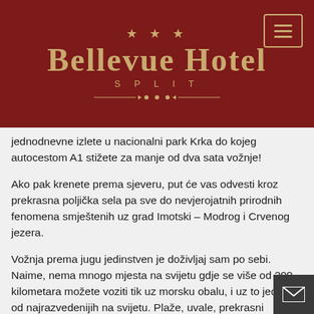[Figure (logo): Bellevue Hotel Split logo on dark red background with gold stars and decorative divider]
jednodnevne izlete u nacionalni park Krka do kojeg autocestom A1 stižete za manje od dva sata vožnje!
Ako pak krenete prema sjeveru, put će vas odvesti kroz prekrasna poljička sela pa sve do nevjerojatnih prirodnih fenomena smještenih uz grad Imotski – Modrog i Crvenog jezera.
Vožnja prema jugu jedinstven je doživljaj sam po sebi. Naime, nema mnogo mjesta na svijetu gdje se više od 200 kilometara možete voziti tik uz morsku obalu, i uz to jednu od najrazvedenijih na svijetu. Plaže, uvale, prekrasni pogledi, malena turistička mjesta poput Baš Vode, Makarske, Drvenika, Ploča, Metkovića, otoci Hvar, Korčula, Mljet, Trpanj, poluotok Pelješac... Sve nizat će se pred vama dok putujete prema jugu zemlje